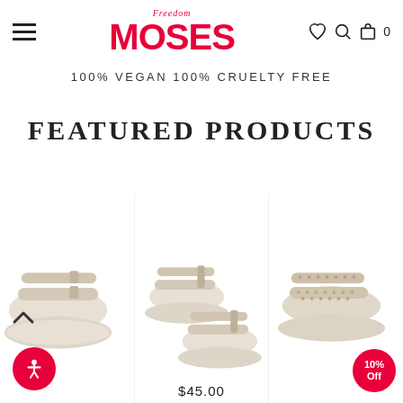[Figure (logo): Freedom Moses brand logo with 'Freedom' in italic script above and 'MOSES' in bold red block letters]
100% VEGAN 100% CRUELTY FREE
FEATURED PRODUCTS
[Figure (photo): Three pairs of cream/beige double-strap buckle sandals shown from above. Left product partially visible, center product showing pair flat lay, right product with textured straps. Center product priced at $45.00. Right product has 10% Off badge.]
$45.00